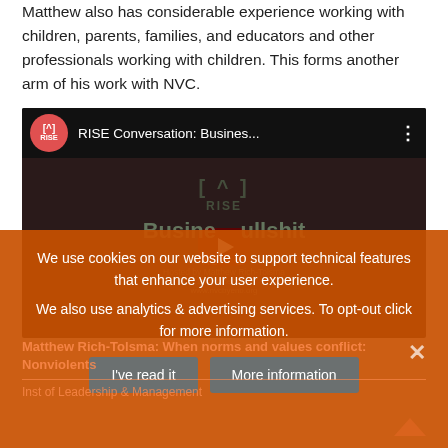Matthew also has considerable experience working with children, parents, families, and educators and other professionals working with children. This forms another arm of his work with NVC.
[Figure (screenshot): YouTube video thumbnail showing 'RISE Conversation: Busines...' with RISE logo, dark background with partial text 'Business Bullshit' and a play button]
We use cookies on our website to support technical features that enhance your user experience.
We also use analytics & advertising services. To opt-out click for more information.
I've read it    More information